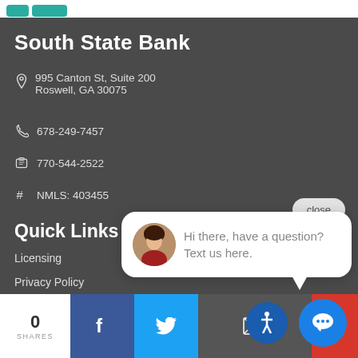South State Bank
995 Canton St, Suite 200
Roswell, GA 30075
678-249-7457
770-544-2522
NMLS: 403455
close
[Figure (screenshot): Chat popup with female avatar and message: Hi there, have a question? Text us here.]
Quick Links
Licensing
Privacy Policy
Requested Documents
[Figure (infographic): Social sharing bar with 0 SHARES, Facebook, Twitter, Email, Accessibility, and Chat icons]